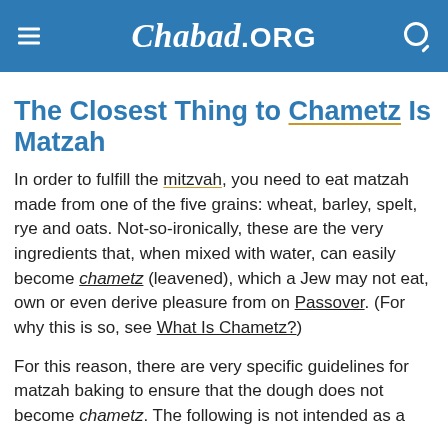Chabad.ORG
The Closest Thing to Chametz Is Matzah
In order to fulfill the mitzvah, you need to eat matzah made from one of the five grains: wheat, barley, spelt, rye and oats. Not-so-ironically, these are the very ingredients that, when mixed with water, can easily become chametz (leavened), which a Jew may not eat, own or even derive pleasure from on Passover. (For why this is so, see What Is Chametz?)
For this reason, there are very specific guidelines for matzah baking to ensure that the dough does not become chametz. The following is not intended as a